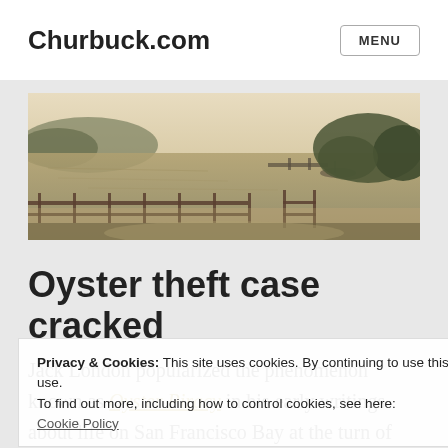Churbuck.com
[Figure (photo): Historic panoramic black-and-white photograph of a bay or harbor with a fence in the foreground, water in the middle ground, and wooded shoreline in the background.]
Oyster theft case cracked
Privacy & Cookies: This site uses cookies. By continuing to use this website, you agree to their use. To find out more, including how to control cookies, see here: Cookie Policy
Jack London popularized the phenomenon known as Oyster Piracy in his early writings about life on San Francisco Bay at the turn of